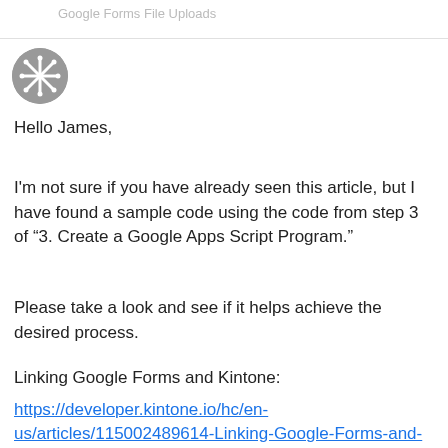Google Forms File Uploads
[Figure (logo): Circular avatar/logo with snowflake-like icon in gray]
Hello James,
I'm not sure if you have already seen this article, but I have found a sample code using the code from step 3 of “3. Create a Google Apps Script Program.”
Please take a look and see if it helps achieve the desired process.
Linking Google Forms and Kintone:
https://developer.kintone.io/hc/en-us/articles/115002489614-Linking-Google-Forms-and-Kintone Ⓑ